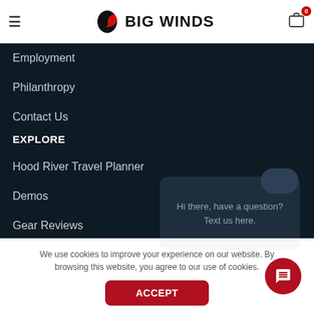Big Winds - navigation header with logo and cart
Employment
Philanthropy
Contact Us
EXPLORE
Hood River Travel Planner
Demos
Gear Reviews
[Figure (screenshot): Chat popup widget with text: Hi there, have a question? Text us here.]
We use cookies to improve your experience on our website. By browsing this website, you agree to our use of cookies.
ACCEPT